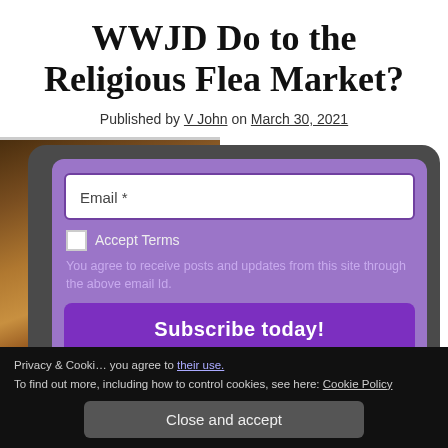WWJD Do to the Religious Flea Market?
Published by V John on March 30, 2021
[Figure (screenshot): A subscribe modal overlay on a webpage showing an Email field with purple border, an Accept Terms checkbox, helper text 'You agree to receive posts and updates from this site through the above email Id.', and a purple 'Subscribe today!' button. Behind the modal is a classical painting. A cookie consent bar at the bottom shows Privacy & Cookie policy text and a 'Close and accept' button.]
Privacy & Cooki... you agree to their use.
To find out more, including how to control cookies, see here: Cookie Policy
Close and accept